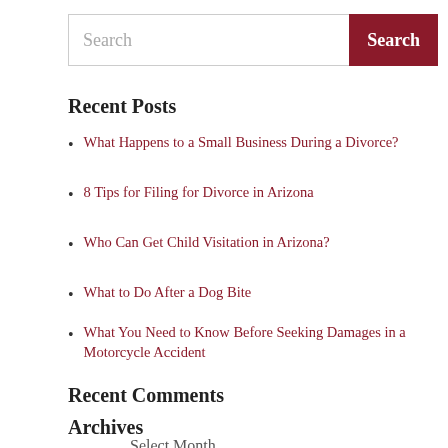Search
Recent Posts
What Happens to a Small Business During a Divorce?
8 Tips for Filing for Divorce in Arizona
Who Can Get Child Visitation in Arizona?
What to Do After a Dog Bite
What You Need to Know Before Seeking Damages in a Motorcycle Accident
Recent Comments
Archives
Select Month